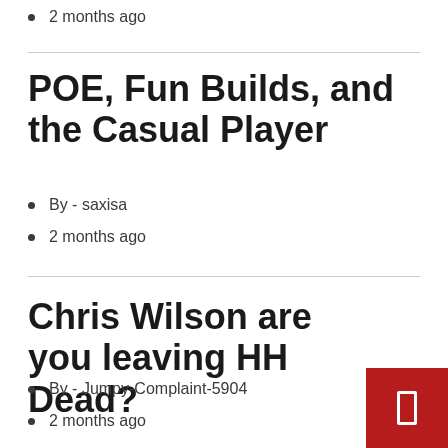2 months ago
POE, Fun Builds, and the Casual Player
By - saxisa
2 months ago
Chris Wilson are you leaving HH Dead?
By - Jumpy-Complaint-5904
2 months ago